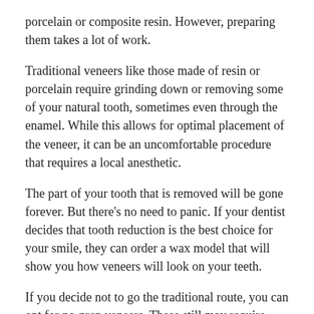porcelain or composite resin. However, preparing them takes a lot of work.
Traditional veneers like those made of resin or porcelain require grinding down or removing some of your natural tooth, sometimes even through the enamel. While this allows for optimal placement of the veneer, it can be an uncomfortable procedure that requires a local anesthetic.
The part of your tooth that is removed will be gone forever. But there’s no need to panic. If your dentist decides that tooth reduction is the best choice for your smile, they can order a wax model that will show you how veneers will look on your teeth.
If you decide not to go the traditional route, you can opt for no-prep veneers. These still may require some